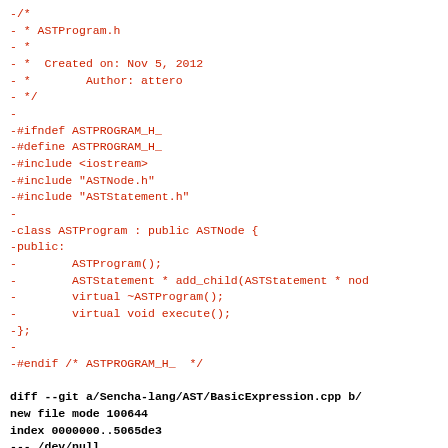Diff output showing deletion of ASTProgram.h and addition of BasicExpression.cpp in a git diff format